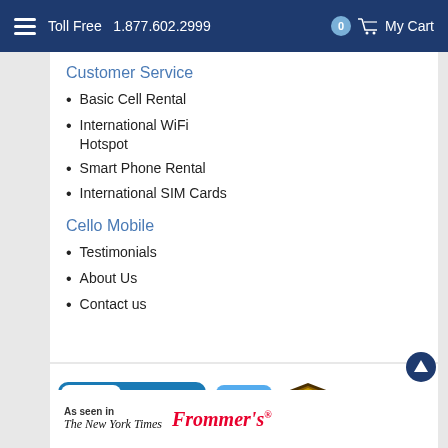Toll Free 1.877.602.2999  0  My Cart
Customer Service
Basic Cell Rental
International WiFi Hotspot
Smart Phone Rental
International SIM Cards
Cello Mobile
Testimonials
About Us
Contact us
[Figure (logo): BBB Accredited Business seal, Twitter bird logo, UPS shield logo, Visa card logo, MasterCard logo, American Express logo, Discover card logo]
[Figure (logo): As seen in The New York Times and Frommer's logos]